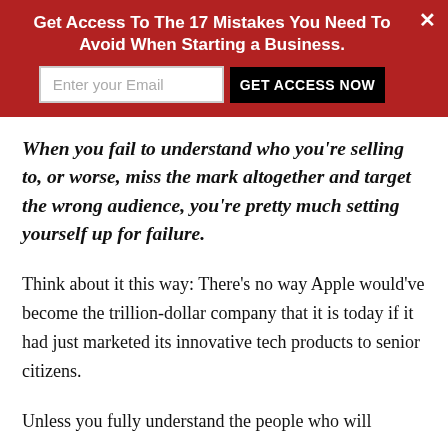Get Access To The 17 Mistakes You Need To Avoid When Starting a Business.
When you fail to understand who you're selling to, or worse, miss the mark altogether and target the wrong audience, you're pretty much setting yourself up for failure.
Think about it this way: There's no way Apple would've become the trillion-dollar company that it is today if it had just marketed its innovative tech products to senior citizens.
Unless you fully understand the people who will purchase your product, you're missing the...